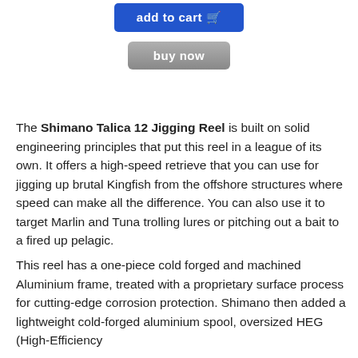[Figure (other): Blue 'add to cart' button with shopping cart icon]
[Figure (other): Gray 'buy now' button]
The Shimano Talica 12 Jigging Reel is built on solid engineering principles that put this reel in a league of its own. It offers a high-speed retrieve that you can use for jigging up brutal Kingfish from the offshore structures where speed can make all the difference. You can also use it to target Marlin and Tuna trolling lures or pitching out a bait to a fired up pelagic.
This reel has a one-piece cold forged and machined Aluminium frame, treated with a proprietary surface process for cutting-edge corrosion protection. Shimano then added a lightweight cold-forged aluminium spool, oversized HEG (High-Efficiency